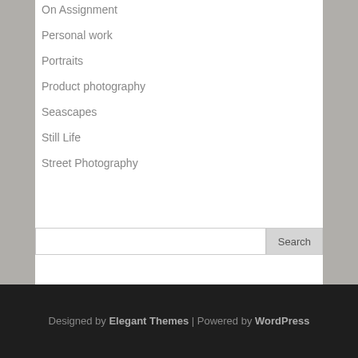On Assignment
Personal work
Portraits
Product photography
Seascapes
Still Life
Street Photography
Search
Designed by Elegant Themes | Powered by WordPress